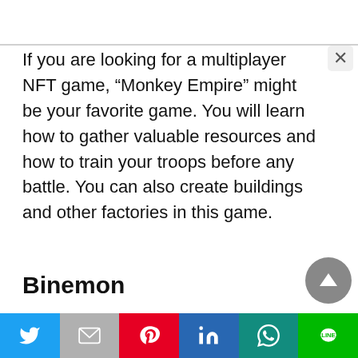If you are looking for a multiplayer NFT game, “Monkey Empire” might be your favorite game. You will learn how to gather valuable resources and how to train your troops before any battle. You can also create buildings and other factories in this game.
Binemon
[Figure (photo): Game artwork showing fantasy/battle scene with dramatic lighting, blue and orange tones]
[Figure (other): Social sharing bar with Twitter, Gmail, Pinterest, LinkedIn, WhatsApp, and LINE buttons]